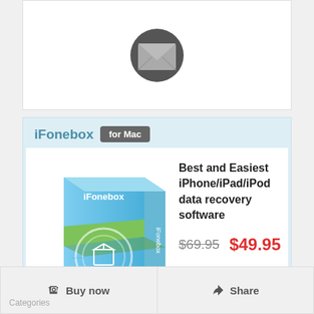[Figure (illustration): Email envelope icon — dark grey circle with white envelope/mail icon inside]
iFonebox for Mac
[Figure (illustration): iFonebox product box — blue software box with iFonebox logo and circular 3D icon]
Best and Easiest iPhone/iPad/iPod data recovery software
$69.95  $49.95
Mac  Buy Now
Get Windows Version?
Share to your facebook timeline to get $15 discount.
Buy now
Categories
Share